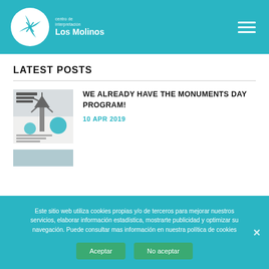[Figure (logo): Centro de Interpretación Los Molinos logo — white circular windmill icon with text]
LATEST POSTS
[Figure (photo): Thumbnail image of a monuments day event poster showing a windmill]
WE ALREADY HAVE THE MONUMENTS DAY PROGRAM!
10 APR 2019
Este sitio web utiliza cookies propias y/o de terceros para mejorar nuestros servicios, elaborar información estadística, mostrarte publicidad y optimizar su navegación. Puede consultar mas información en nuestra política de cookies